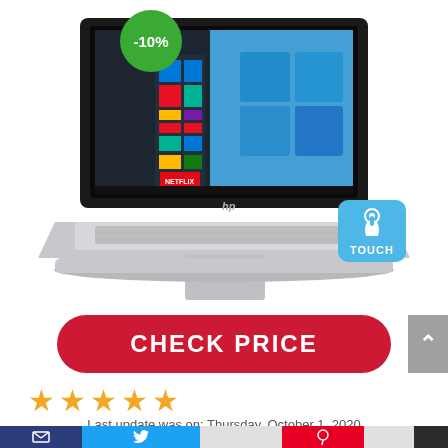[Figure (photo): HP laptop with Windows 10 touchscreen display, silver body, with a -10% discount badge (green circle, top-left) and a TOUCH badge (blue rounded square, bottom-right of screen)]
CHECK PRICE
★★★★★
Last update was on: Thursday, October 1, 2020